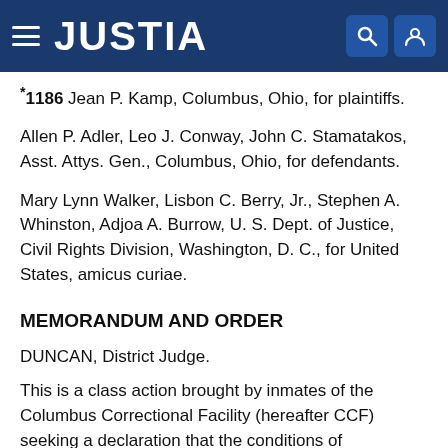JUSTIA
*1186 Jean P. Kamp, Columbus, Ohio, for plaintiffs.
Allen P. Adler, Leo J. Conway, John C. Stamatakos, Asst. Attys. Gen., Columbus, Ohio, for defendants.
Mary Lynn Walker, Lisbon C. Berry, Jr., Stephen A. Whinston, Adjoa A. Burrow, U. S. Dept. of Justice, Civil Rights Division, Washington, D. C., for United States, amicus curiae.
MEMORANDUM AND ORDER
DUNCAN, District Judge.
This is a class action brought by inmates of the Columbus Correctional Facility (hereafter CCF) seeking a declaration that the conditions of confinement to which